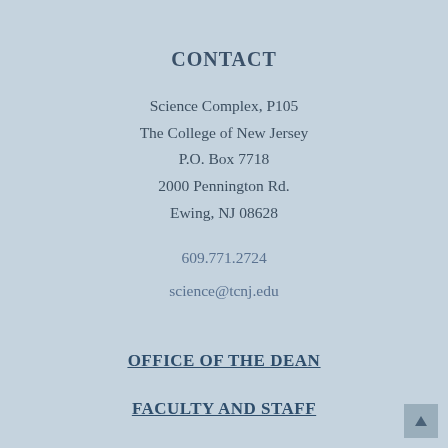CONTACT
Science Complex, P105
The College of New Jersey
P.O. Box 7718
2000 Pennington Rd.
Ewing, NJ 08628
609.771.2724
science@tcnj.edu
OFFICE OF THE DEAN
FACULTY AND STAFF
CAMPUS MAP